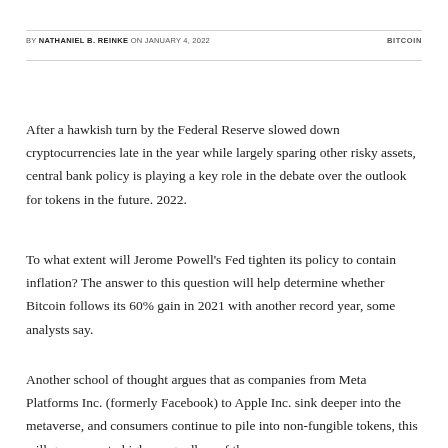BY NATHANIEL B. REINKE ON JANUARY 4, 2022    BITCOIN
After a hawkish turn by the Federal Reserve slowed down cryptocurrencies late in the year while largely sparing other risky assets, central bank policy is playing a key role in the debate over the outlook for tokens in the future. 2022.
To what extent will Jerome Powell’s Fed tighten its policy to contain inflation? The answer to this question will help determine whether Bitcoin follows its 60% gain in 2021 with another record year, some analysts say.
Another school of thought argues that as companies from Meta Platforms Inc. (formerly Facebook) to Apple Inc. sink deeper into the metaverse, and consumers continue to pile into non-fungible tokens, this will grow. crypto higher regardless of the